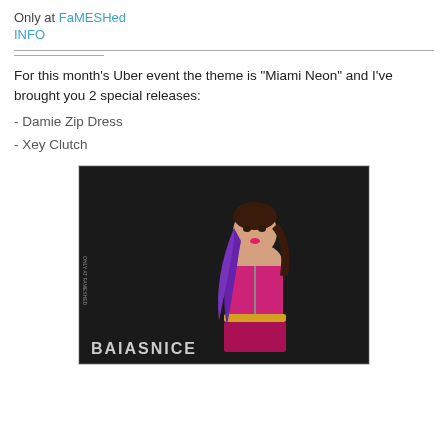Only at FaMESHed
INFO
For this month's Uber event the theme is "Miami Neon" and I've brought you 2 special releases:
- Damie Zip Dress
- Xey Clutch
[Figure (photo): A 3D virtual avatar woman with long purple hair wearing a hot pink strapless zip dress with a gold belt, against a dark background. The brand logo 'BAIASNICE' is shown at the bottom left.]